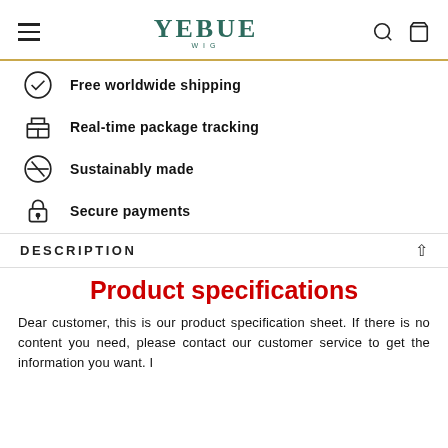YEBUE WIG
Free worldwide shipping
Real-time package tracking
Sustainably made
Secure payments
DESCRIPTION
Product specifications
Dear customer, this is our product specification sheet. If there is no content you need, please contact our customer service to get the information you want. I